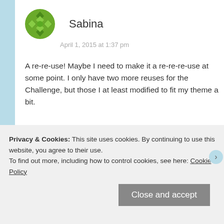Sabina
April 1, 2015 at 1:37 pm
A re-re-use! Maybe I need to make it a re-re-re-use at some point. I only have two more reuses for the Challenge, but those I at least modified to fit my theme a bit.
★ Liked by 1 person
Reply
Privacy & Cookies: This site uses cookies. By continuing to use this website, you agree to their use.
To find out more, including how to control cookies, see here: Cookie Policy
Close and accept